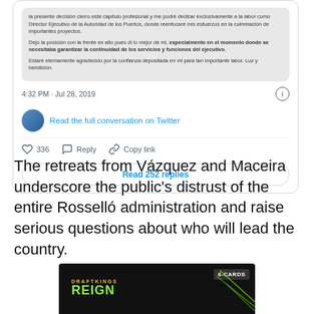[Figure (screenshot): Screenshot of a Twitter/X post showing a Spanish-language message, timestamp '4:32 PM · Jul 28, 2019', a 'Read the full conversation on Twitter' link, action buttons (336 likes, Reply, Copy link), and a 'Read 252 replies' button.]
The retreats from Vázquez and Maceira underscore the public's distrust of the entire Rosselló administration and raise serious questions about who will lead the country.
[Figure (screenshot): Bottom portion of a DraftKings advertisement showing the DraftKings logo with 'REIGN' text and '6-CARDS' label on a dark background with green line graphics.]